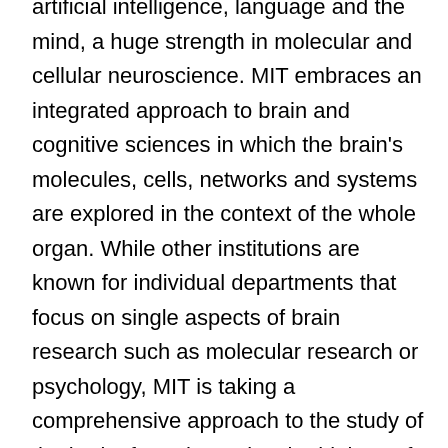artificial intelligence, language and the mind, a huge strength in molecular and cellular neuroscience. MIT embraces an integrated approach to brain and cognitive sciences in which the brain's molecules, cells, networks and systems are explored in the context of the whole organ. While other institutions are known for individual departments that focus on single aspects of brain research such as molecular research or psychology, MIT is taking a comprehensive approach to the study of the brain, from the molecular biology of the synapse to the study of language."
The Picower Center for Learning and Memory is one of four MIT entities involved in exploring brain function through biology, electrical engineering,